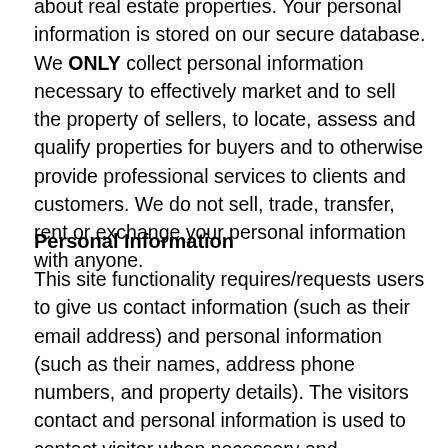about real estate properties. Your personal information is stored on our secure database. We ONLY collect personal information necessary to effectively market and to sell the property of sellers, to locate, assess and qualify properties for buyers and to otherwise provide professional services to clients and customers. We do not sell, trade, transfer, rent or exchange your personal information with anyone.
Personal Information
This site functionality requires/requests users to give us contact information (such as their email address) and personal information (such as their names, address phone numbers, and property details). The visitors contact and personal information is used to contact visitor when necessary and requested, but is primarily used to collect personal information necessary to